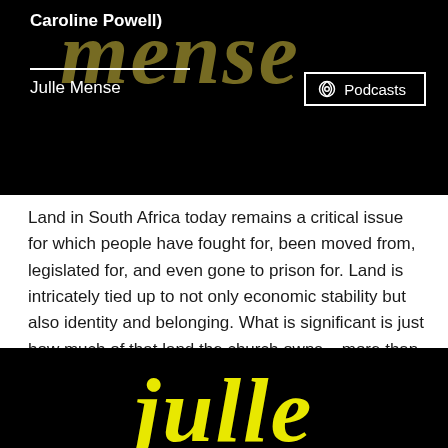[Figure (screenshot): Black banner with cursive gold/olive 'mense' text in background, white text showing 'Caroline Powell)' at top and 'Julle Mense' below a horizontal line, with a 'Podcasts' button outlined in white on the right]
Land in South Africa today remains a critical issue for which people have fought for, been moved from, legislated for, and even gone to prison for. Land is intricately tied up to not only economic stability but also identity and belonging. What is significant is just how much of that land the church owns – more than 180 000 hectares. How could churches begin to use this land to start…
Continue Reading
[Figure (screenshot): Black banner with large cursive bright yellow 'julle' text partially visible at bottom of page]